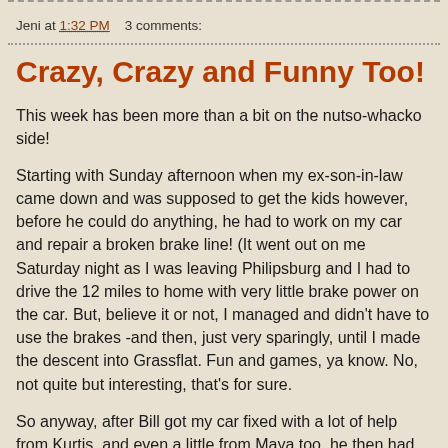Jeni at 1:32 PM   3 comments:
Crazy, Crazy and Funny Too!
This week has been more than a bit on the nutso-whacko side!
Starting with Sunday afternoon when my ex-son-in-law came down and was supposed to get the kids however, before he could do anything, he had to work on my car and repair a broken brake line! (It went out on me Saturday night as I was leaving Philipsburg and I had to drive the 12 miles to home with very little brake power on the car. But, believe it or not, I managed and didn't have to use the brakes -and then, just very sparingly, until I made the descent into Grassflat. Fun and games, ya know. No, not quite but interesting, that's for sure.
So anyway, after Bill got my car fixed with a lot of help from Kurtis, and even a little from Maya too, he then had to check